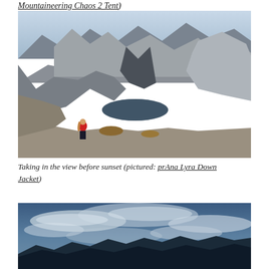Mountaineering Chaos 2 Tent)
[Figure (photo): A woman in a red jacket standing on granite rocks overlooking a mountain lake and dramatic rocky peaks in the background]
Taking in the view before sunset (pictured: prAna Lyra Down Jacket)
[Figure (photo): Panoramic mountain landscape at dusk with blue sky, clouds, and mountain silhouettes in the distance]